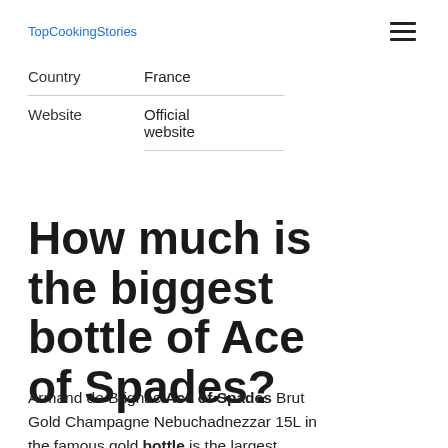TopCookingStories
| Country | France |
| Website | Official website |
How much is the biggest bottle of Ace of Spades?
Armand de Brignac Ace of Spades Brut Gold Champagne Nebuchadnezzar 15L in the famous gold bottle is the largest